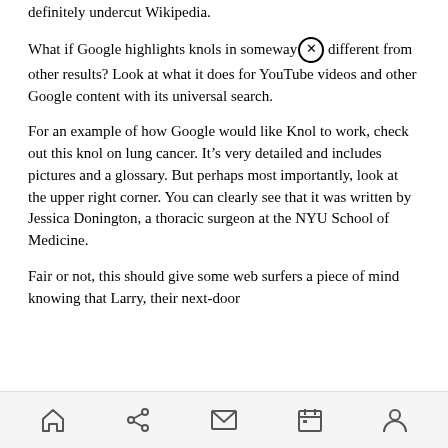definitely undercut Wikipedia.
What if Google highlights knols in someway different from other results? Look at what it does for YouTube videos and other Google content with its universal search.
For an example of how Google would like Knol to work, check out this knol on lung cancer. It’s very detailed and includes pictures and a glossary. But perhaps most importantly, look at the upper right corner. You can clearly see that it was written by Jessica Donington, a thoracic surgeon at the NYU School of Medicine.
Fair or not, this should give some web surfers a piece of mind knowing that Larry, their next-door